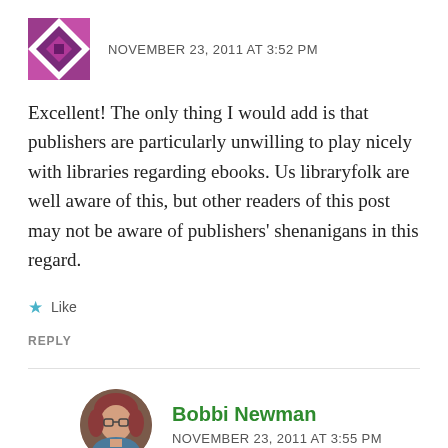[Figure (illustration): Purple/magenta decorative avatar icon (geometric quilt-like pattern)]
NOVEMBER 23, 2011 AT 3:52 PM
Excellent! The only thing I would add is that publishers are particularly unwilling to play nicely with libraries regarding ebooks. Us libraryfolk are well aware of this, but other readers of this post may not be aware of publishers' shenanigans in this regard.
Like
REPLY
[Figure (photo): Circular profile photo of Bobbi Newman — a woman with red/auburn hair and glasses]
Bobbi Newman
NOVEMBER 23, 2011 AT 3:55 PM